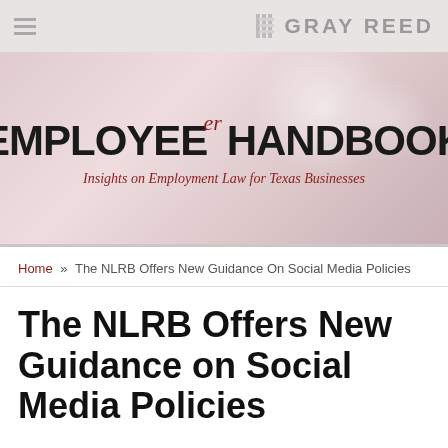GRAY REED
[Figure (logo): Employee er Handbook banner — Insights on Employment Law for Texas Businesses]
Home » The NLRB Offers New Guidance On Social Media Policies
The NLRB Offers New Guidance on Social Media Policies